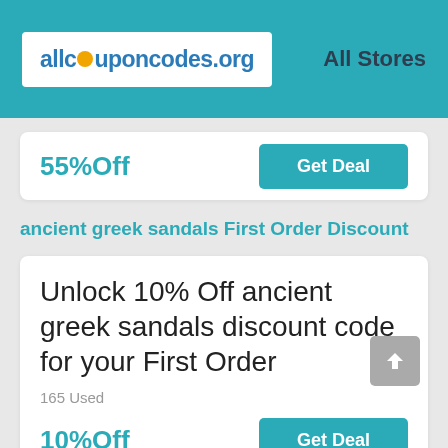allcouponcodes.org — All Stores
55% Off
Get Deal
ancient greek sandals First Order Discount
Unlock 10% Off ancient greek sandals discount code for your First Order
165 Used
10% Off
Get Deal